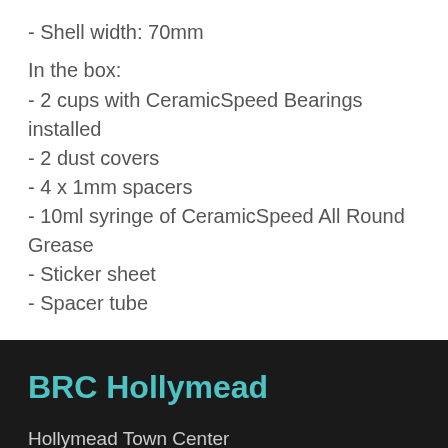- Shell width: 70mm
In the box:
- 2 cups with CeramicSpeed Bearings installed
- 2 dust covers
- 4 x 1mm spacers
- 10ml syringe of CeramicSpeed All Round Grease
- Sticker sheet
- Spacer tube
BRC Hollymead
Hollymead Town Center
300 Connor Dr.
Charlottesville, VA 22911
(434) 995-2453
Directions